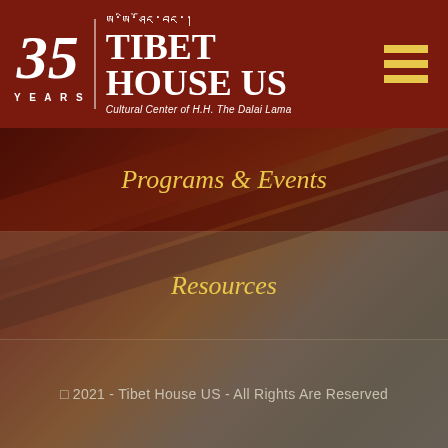[Figure (logo): Tibet House US 35 Years logo with Tibetan script, on dark red background with gold hamburger menu icon]
[Figure (photo): Close-up photo of what appears to be a Tibetan musical instrument or wooden beam, reddish-brown tones with diagonal composition, overlaid with dark semi-transparent sections]
Programs & Events
Resources
© 2021 - Tibet House US - All Rights Are Reserved